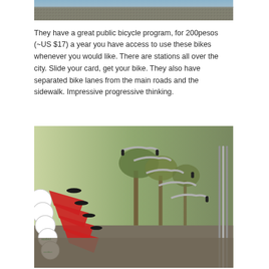[Figure (photo): Top portion of a photo showing a blue tarpaulin or sign above a rocky/gravelly surface]
They have a great public bicycle program, for 200pesos (~US $17) a year you have access to use these bikes whenever you would like. There are stations all over the city. Slide your card, get your bike. They also have separated bike lanes from the main roads and the sidewalk. Impressive progressive thinking.
[Figure (photo): A row of red public bicycles parked at a docking station, with trees and greenery visible in the background]